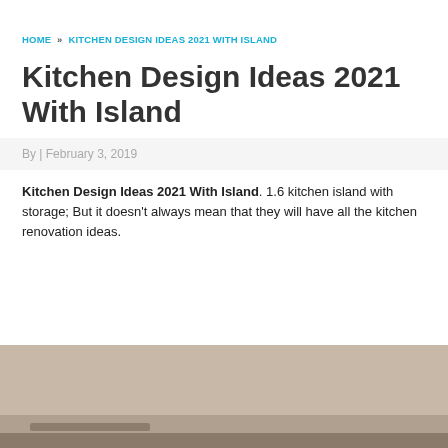HOME » KITCHEN DESIGN IDEAS 2021 WITH ISLAND
Kitchen Design Ideas 2021 With Island
By | February 3, 2019
Kitchen Design Ideas 2021 With Island. 1.6 kitchen island with storage; But it doesn't always mean that they will have all the kitchen renovation ideas.
[Figure (photo): Kitchen interior photo showing a countertop or island surface, partially visible at the bottom of the page]